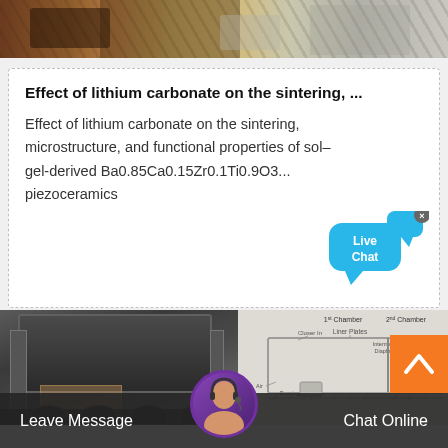[Figure (photo): Top strip showing industrial/mining equipment in a warehouse or outdoor setting]
Effect of lithium carbonate on the sintering, ...
Effect of lithium carbonate on the sintering, microstructure, and functional properties of sol–gel-derived Ba0.85Ca0.15Zr0.1Ti0.9O3... piezoceramics
[Figure (photo): Live Chat bubble overlay with blue speech bubble showing 'Live Chat' text and a close X button]
[Figure (photo): Bottom left: industrial/mining equipment truck or machine in grayscale outdoor photo]
[Figure (engineering-diagram): Engineering cross-section diagram of a ball mill showing components labeled: 1st Chamber, 2nd Chamber, Liner Plates, Intermediate Diaphragm, Mill Shell, Bearing, Closer In, Air]
Leave Message   Chat Online